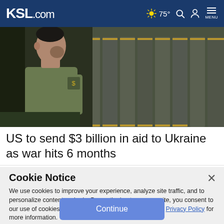KSL.com — 75° Search Account Menu
[Figure (photo): A man in a military olive green t-shirt with a Ukrainian trident patch on the sleeve, standing in profile, with soldiers holding shields in the background.]
US to send $3 billion in aid to Ukraine as war hits 6 months
Cookie Notice
We use cookies to improve your experience, analyze site traffic, and to personalize content and ads. By continuing to use our site, you consent to our use of cookies. Please visit our Terms of Use and Privacy Policy for more information.
Continue